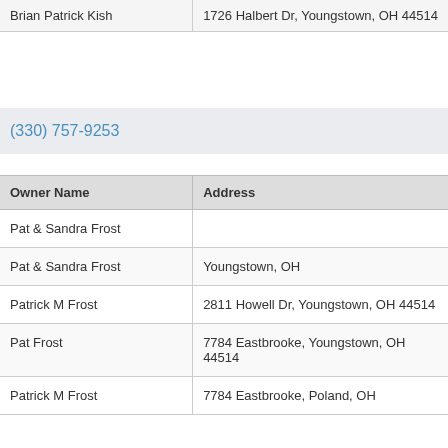| Brian Patrick Kish | 1726 Halbert Dr, Youngstown, OH 44514 |
(330) 757-9253
| Owner Name | Address |
| --- | --- |
| Pat & Sandra Frost |  |
| Pat & Sandra Frost | Youngstown, OH |
| Patrick M Frost | 2811 Howell Dr, Youngstown, OH 44514 |
| Pat Frost | 7784 Eastbrooke, Youngstown, OH 44514 |
| Patrick M Frost | 7784 Eastbrooke, Poland, OH |